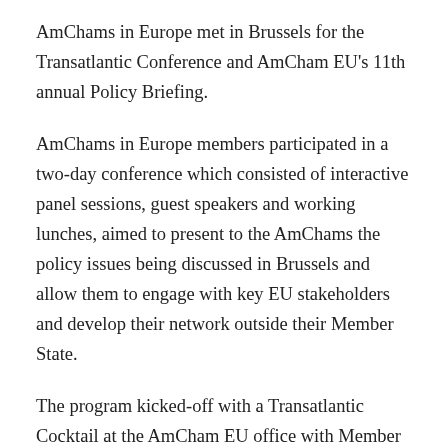AmChams in Europe met in Brussels for the Transatlantic Conference and AmCham EU's 11th annual Policy Briefing.
AmChams in Europe members participated in a two-day conference which consisted of interactive panel sessions, guest speakers and working lunches, aimed to present to the AmChams the policy issues being discussed in Brussels and allow them to engage with key EU stakeholders and develop their network outside their Member State.
The program kicked-off with a Transatlantic Cocktail at the AmCham EU office with Member State and EU stakeholders, senior U.S. Mission staff, members of AmCham EU and Executive